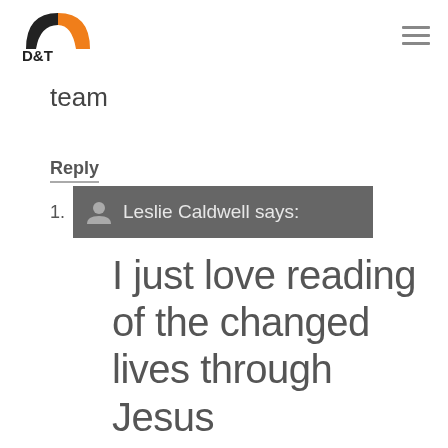D&T logo and navigation menu
team
Reply
1. Leslie Caldwell says:
I just love reading of the changed lives through Jesus